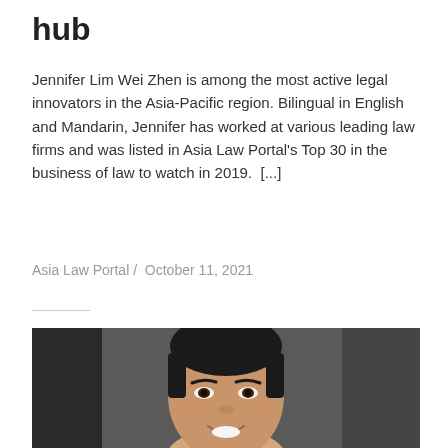hub
Jennifer Lim Wei Zhen is among the most active legal innovators in the Asia-Pacific region. Bilingual in English and Mandarin, Jennifer has worked at various leading law firms and was listed in Asia Law Portal's Top 30 in the business of law to watch in 2019.  [...]
Asia Law Portal /  October 11, 2021
[Figure (photo): Portrait photo of a young Asian man smiling, shown from shoulders up, with a dark blurred background]